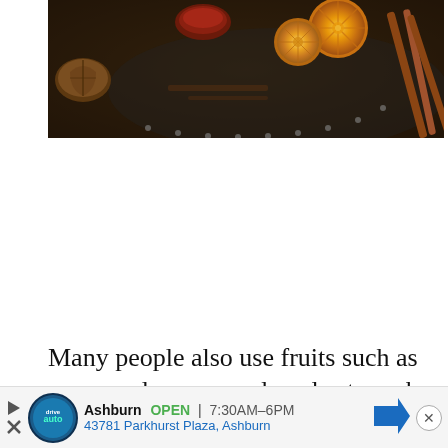[Figure (photo): Photo of dried orange slices, cinnamon sticks, and spices arranged on a dark decorative plate/tray on a textured background. A walnut is visible on the left side.]
Many people also use fruits such as oranges, lemons, and apples to make their desired
versi                                                                              es it
so tru                                                                             ng
[Figure (infographic): Advertisement bar: drive.auto logo, Ashburn OPEN 7:30AM-6PM, 43781 Parkhurst Plaza, Ashburn, with navigation arrow and close button.]